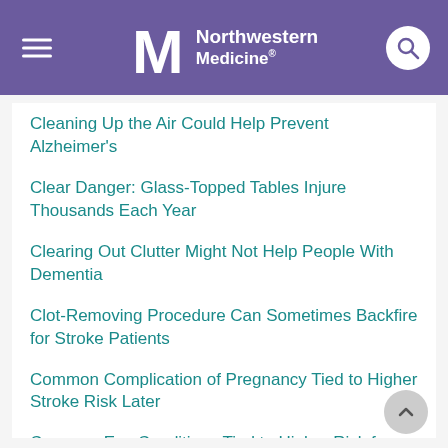Northwestern Medicine
Cleaning Up the Air Could Help Prevent Alzheimer's
Clear Danger: Glass-Topped Tables Injure Thousands Each Year
Clearing Out Clutter Might Not Help People With Dementia
Clot-Removing Procedure Can Sometimes Backfire for Stroke Patients
Common Complication of Pregnancy Tied to Higher Stroke Risk Later
Common Eye Conditions Tied to Higher Risk for Dementia
Compression Stockings May Not Be Needed